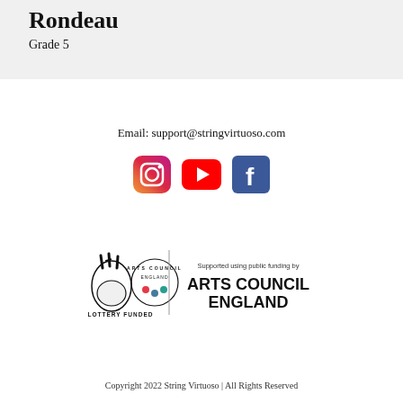Rondeau
Grade 5
Email: support@stringvirtuoso.com
[Figure (logo): Social media icons: Instagram, YouTube, Facebook]
[Figure (logo): Arts Council England lottery funded logo with text: Supported using public funding by ARTS COUNCIL ENGLAND]
Copyright 2022 String Virtuoso | All Rights Reserved